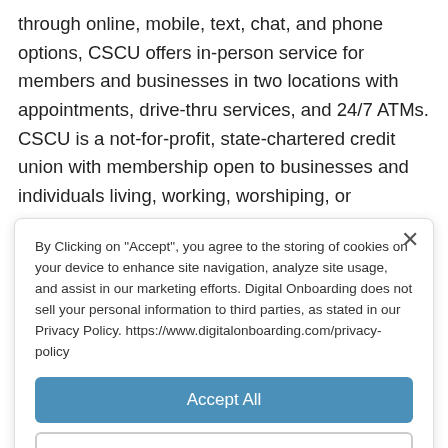through online, mobile, text, chat, and phone options, CSCU offers in-person service for members and businesses in two locations with appointments, drive-thru services, and 24/7 ATMs. CSCU is a not-for-profit, state-chartered credit union with membership open to businesses and individuals living, working, worshiping, or attending school in Walker, Madison, Trinity, San Jacinto, Grimes, and Houston counties. Insured by NCUA. For more information, please visit https://www.cscutx.com or
By Clicking on "Accept", you agree to the storing of cookies on your device to enhance site navigation, analyze site usage, and assist in our marketing efforts. Digital Onboarding does not sell your personal information to third parties, as stated in our Privacy Policy. https://www.digitalonboarding.com/privacy-policy
Accept All
Deny All